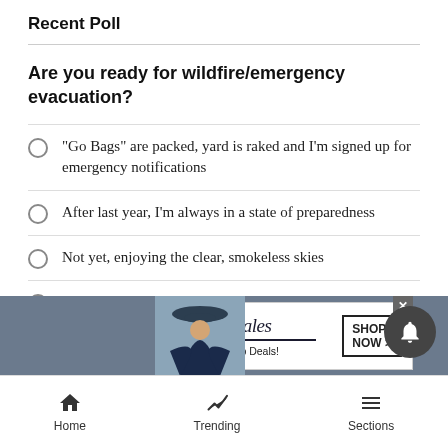Recent Poll
Are you ready for wildfire/emergency evacuation?
"Go Bags" are packed, yard is raked and I'm signed up for emergency notifications
After last year, I'm always in a state of preparedness
Not yet, enjoying the clear, smokeless skies
I'm exhausted with the threat of wildfire, thinking about moving
[Figure (screenshot): Bloomingdale's advertisement banner: logo text 'bloomingdales View Today's Top Deals!' with SHOP NOW > button and woman in hat photo]
Home   Trending   Sections